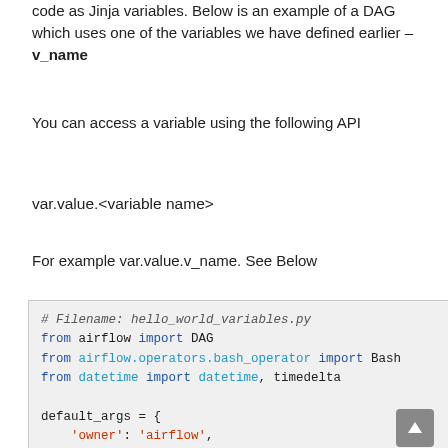code as Jinja variables. Below is an example of a DAG which uses one of the variables we have defined earlier – v_name
You can access a variable using the following API
var.value.<variable name>
For example var.value.v_name. See Below
# Filename: hello_world_variables.py
from airflow import DAG
from airflow.operators.bash_operator import Bash
from datetime import datetime, timedelta

default_args = {
    'owner': 'airflow',
    'depends_on_past': False,